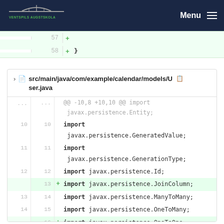[Figure (logo): Ventspils Augstskola university logo with stylized bridge graphic and green text on dark navy background]
Menu
57  +
58  + }
src/main/java/com/example/calendar/models/User.java
@@ -10,8 +10,10 @@ import javax.persistence.Entity;
10  10   import javax.persistence.GeneratedValue;
11  11   import javax.persistence.GenerationType;
12  12   import javax.persistence.Id;
     13 + import javax.persistence.JoinColumn;
13  14   import javax.persistence.ManyToMany;
14  15   import javax.persistence.OneToMany;
     16 + import javax.persistence.OneToOne;
15  17   import javax.persistence.Table;
16  18  
17  19   import
         org.springframework.data.annotation